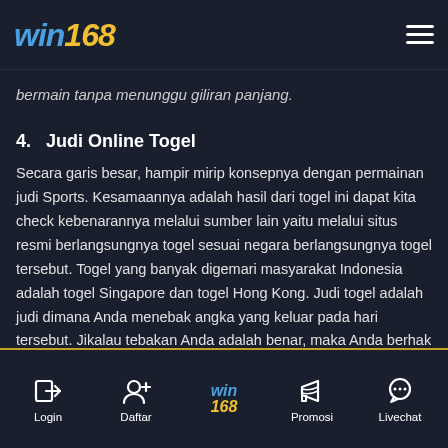WIN168
bermain tanpa menunggu giliran panjang.
4. Judi Online Togel
Secara garis besar, hampir mirip konsepnya dengan permainan judi Sports. Kesamaannya adalah hasil dari togel ini dapat kita check kebenarannya melalui sumber lain yaitu melalui situs resmi berlangsungnya togel sesuai negara berlangsungnya togel tersebut. Togel yang banyak digemari masyarakat Indonesia adalah togel Singapore dan togel Hong Kong. Judi togel adalah judi dimana Anda menebak angka yang keluar pada hari tersebut. Jikalau tebakan Anda adalah benar, maka Anda berhak memenangkan perkalian kemenangan sesuai dengan nominal pasangan Anda.
Login | Daftar | WIN168 | Promosi | Livechat